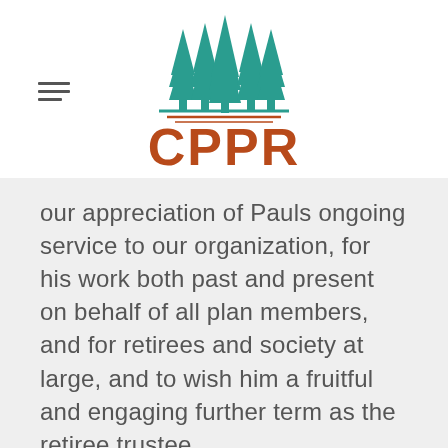[Figure (logo): CPPR logo with teal stylized tree/wheat icons above brown CPPR text lettering]
our appreciation of Pauls ongoing service to our organization, for his work both past and present on behalf of all plan members, and for retirees and society at large, and to wish him a fruitful and engaging further term as the retiree trustee.
Check out our latest newsletter for a longer